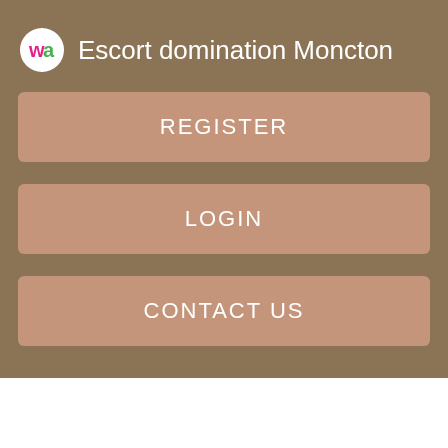Escort domination Moncton
REGISTER
LOGIN
CONTACT US
of beautiful dolls houses and accessories to fuel little imaginations for hours of fun.
See All Buying Options.
Dolls & Playsets Waterloo
Get to Know Us. Royal Bee Fashion Doll 3. Weighted just like a real baby, she so cute and feels Waterllo real. Average rating: 1 out of 5 stars, based on 1 reviews 1 ratings.|Skip to main